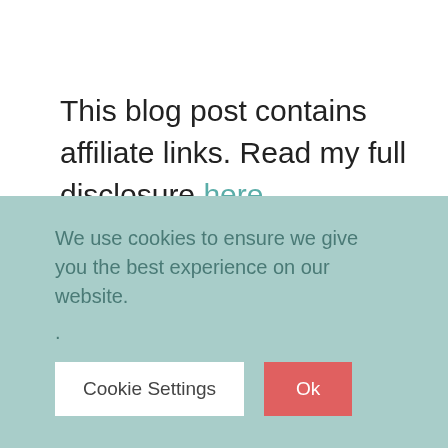This blog post contains affiliate links. Read my full disclosure here.
Fizz the Season!
If...
We use cookies to ensure we give you the best experience on our website.
.
Cookie Settings  Ok